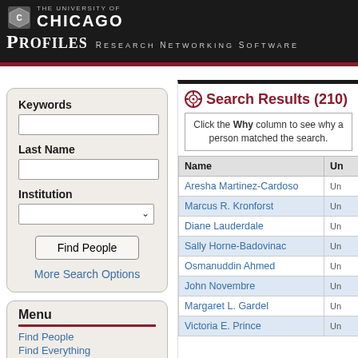THE UNIVERSITY OF CHICAGO — PROFILES Research Networking Software
Keywords
Last Name
Institution
Find People
More Search Options
Menu
Find People
Find Everything
About This Site
Search Results (210)
Click the Why column to see why a person matched the search.
| Name | Un... |
| --- | --- |
| Aresha Martinez-Cardoso | Un |
| Marcus R. Kronforst | Un |
| Diane Lauderdale | Un |
| Sally Horne-Badovinac | Un |
| Osmanuddin Ahmed | Un |
| John Novembre | Un |
| Margaret L. Gardel | Un |
| Victoria E. Prince | Un |